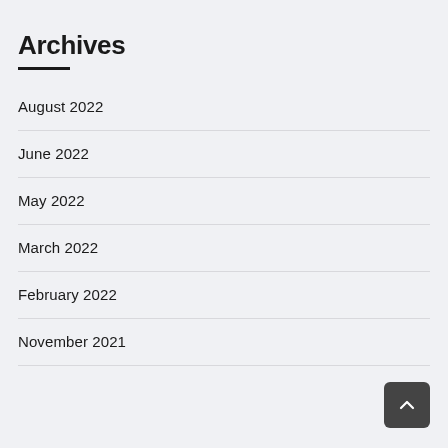Archives
August 2022
June 2022
May 2022
March 2022
February 2022
November 2021